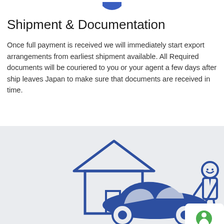[Figure (illustration): Partial blue circle icon at top center of page]
Shipment & Documentation
Once full payment is received we will immediately start export arrangements from earliest shipment available. All Required documents will be couriered to you or your agent a few days after ship leaves Japan to make sure that documents are received in time.
[Figure (illustration): Illustration on grey background showing a house with a car parked in front, a person standing next to the car, and a partial white card with a green circle icon at bottom right.]